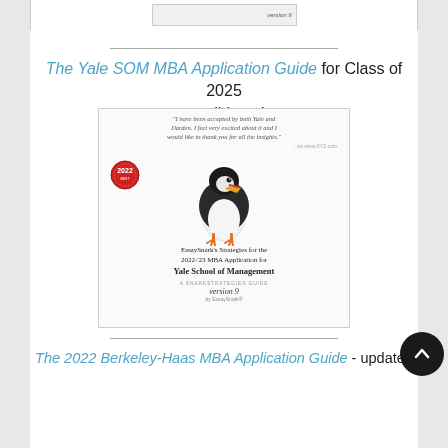[Figure (illustration): Partial view of a book cover at top of page, cropped]
The Yale SOM MBA Application Guide for Class of 2025 candidates!
[Figure (illustration): Book cover: EssaySnark's Strategies for the 2022-'23 MBA Application for Yale School of Management, version 9 by EssaySnark. Shows a puffin bird and a 2022 stamp badge. Quote at top: 'I have been accepted by both Yale and Darden. I feel very excited about it and I would like to thank you for all the insights.']
The 2022 Berkeley-Haas MBA Application Guide - updated